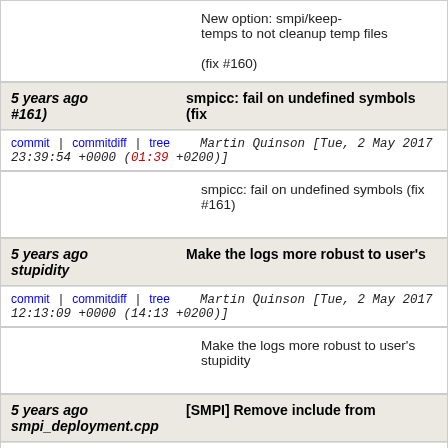New option: smpi/keep-temps to not cleanup temp files

(fix #160)
5 years ago    smpicc: fail on undefined symbols (fix #161)
commit | commitdiff | tree    Martin Quinson [Tue, 2 May 2017 23:39:54 +0000 (01:39 +0200)]
smpicc: fail on undefined symbols (fix #161)
5 years ago    Make the logs more robust to user's stupidity
commit | commitdiff | tree    Martin Quinson [Tue, 2 May 2017 12:13:09 +0000 (14:13 +0200)]
Make the logs more robust to user's stupidity
5 years ago    [SMPI] Remove include from smpi_deployment.cpp
commit | commitdiff | tree    Christian Heinrich [Tue, 2 May 2017 10:46:32 +0000 (12:46 +0200)]